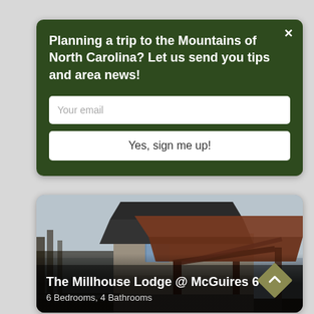[Figure (screenshot): Newsletter signup popup with dark green background overlay. Contains bold white text, email input field, and sign up button. Forest/trees photo visible in background on right side.]
Planning a trip to the Mountains of North Carolina? Let us send you tips and area news!
Your email
Yes, sign me up!
[Figure (photo): Photo of The Millhouse Lodge at McGuires, a large cabin/lodge building with prominent wood-beam covered porch structure, photographed from the exterior. Autumn or overcast conditions.]
The Millhouse Lodge @ McGuires 6 Bed
6 Bedrooms, 4 Bathrooms